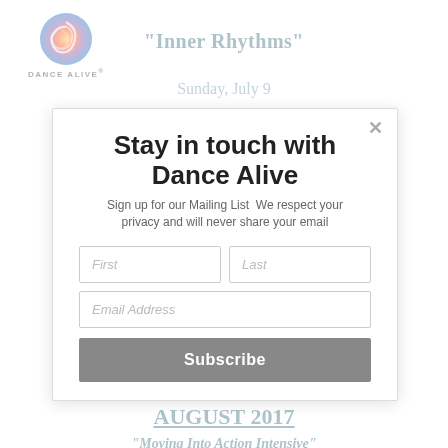[Figure (logo): Dance Alive logo with colorful spiral wave circle and text DANCE ALIVE below]
"Inner Rhythms"
Sunday, July 9
2-6pm
Dance Alive presents
Saturday, July 8
9am-5pm
AUGUST 2017
"Moving Into Action Intensive"
Fri, Sat & Sun, August 11-13
9am-5:30pm
[Figure (screenshot): Modal popup overlay: Stay in touch with Dance Alive. Sign up for our Mailing List. We respect your privacy and will never share your email. First/Last name fields, Email Address field, Subscribe button.]
Stay in touch with Dance Alive
Sign up for our Mailing List We respect your privacy and will never share your email
First
Last
Email Address
Subscribe